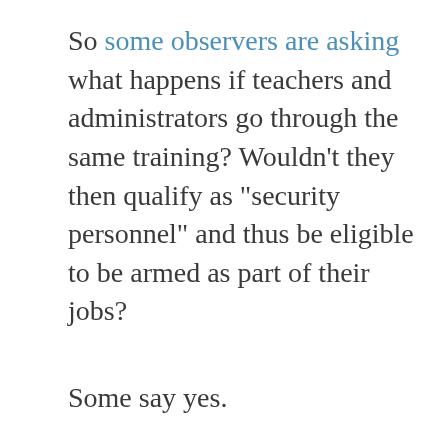So some observers are asking what happens if teachers and administrators go through the same training? Wouldn't they then qualify as "security personnel" and thus be eligible to be armed as part of their jobs?
Some say yes.
But others go even farther.
The bill only says who may be armed in schools.